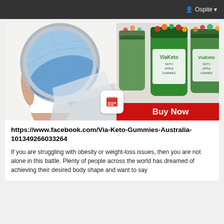Ospite
[Figure (photo): Composite image: left side shows a woman in white top holding a large globe/world graphic showing her back; right side shows multiple green ViaKeto supplement bottles with red gummies on top and a red 'Buy Now' button at bottom. A calendar/table icon overlay appears in the center bottom of the image.]
https://www.facebook.com/Via-Keto-Gummies-Australia-101349266033264
If you are struggling with obesity or weight-loss issues, then you are not alone in this battle. Plenty of people across the world has dreamed of achieving their desired body shape and want to say